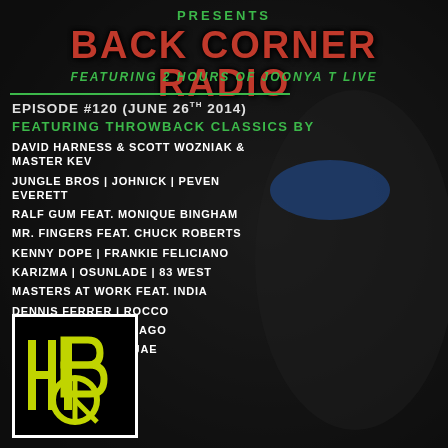PRESENTS
BACK CORNER RADIO
FEATURING 2 HOURS OF JOONYA T LIVE
EPISODE #120 (JUNE 26TH 2014)
FEATURING THROWBACK CLASSICS BY
DAVID HARNESS & SCOTT WOZNIAK & MASTER KEV
JUNGLE BROS | JOHNICK | PEVEN EVERETT
RALF GUM FEAT. MONIQUE BINGHAM
MR. FINGERS FEAT. CHUCK ROBERTS
KENNY DOPE | FRANKIE FELICIANO
KARIZMA | OSUNLADE | 83 WEST
MASTERS AT WORK FEAT. INDIA
DENNIS FERRER | ROCCO
BLAZE | RAZE | CHICAGO
MARK ROGERS | DAJAE
[Figure (logo): BCR logo - stylized letters HBR with circular element, yellow-green on black background with white border]